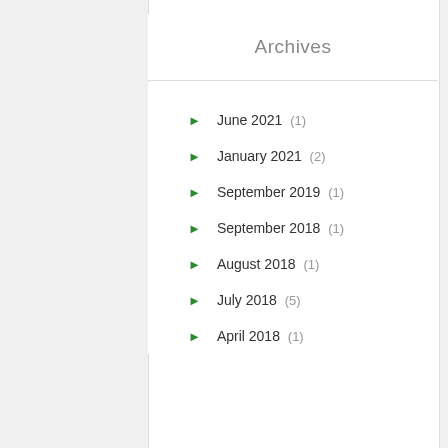Archives
June 2021 (1)
January 2021 (2)
September 2019 (1)
September 2018 (1)
August 2018 (1)
July 2018 (5)
April 2018 (1)